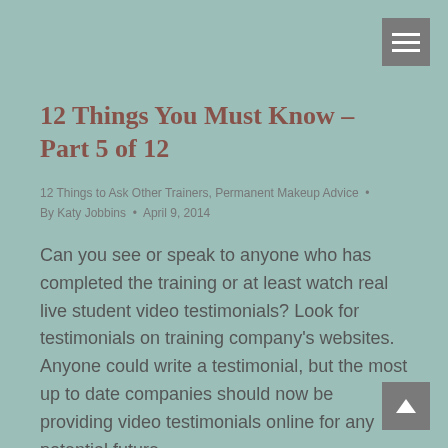12 Things You Must Know – Part 5 of 12
12 Things to Ask Other Trainers, Permanent Makeup Advice • By Katy Jobbins • April 9, 2014
Can you see or speak to anyone who has completed the training or at least watch real live student video testimonials? Look for testimonials on training company's websites. Anyone could write a testimonial, but the most up to date companies should now be providing video testimonials online for any potential future